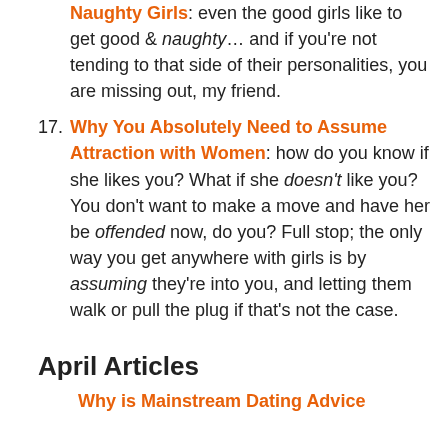Naughty Girls: even the good girls like to get good & naughty… and if you're not tending to that side of their personalities, you are missing out, my friend.
Why You Absolutely Need to Assume Attraction with Women: how do you know if she likes you? What if she doesn't like you? You don't want to make a move and have her be offended now, do you? Full stop; the only way you get anywhere with girls is by assuming they're into you, and letting them walk or pull the plug if that's not the case.
April Articles
Why is Mainstream Dating Advice